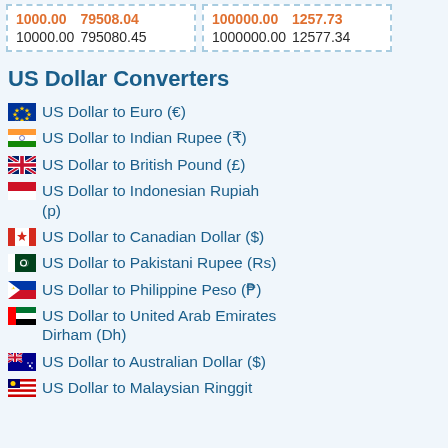| 1000.00 | 79508.04 |
| 10000.00 | 795080.45 |
| 100000.00 | 1257.73 |
| 1000000.00 | 12577.34 |
US Dollar Converters
US Dollar to Euro (€)
US Dollar to Indian Rupee (₹)
US Dollar to British Pound (£)
US Dollar to Indonesian Rupiah (p)
US Dollar to Canadian Dollar ($)
US Dollar to Pakistani Rupee (Rs)
US Dollar to Philippine Peso (₱)
US Dollar to United Arab Emirates Dirham (Dh)
US Dollar to Australian Dollar ($)
US Dollar to Malaysian Ringgit